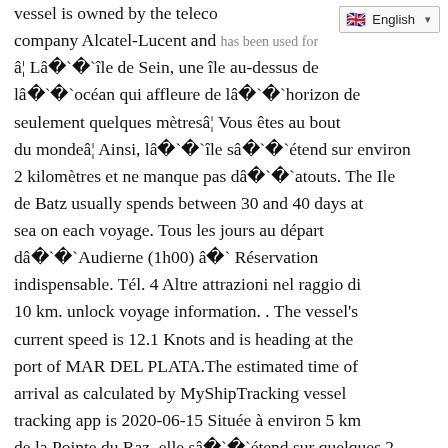vessel is owned by the telecom company Alcatel-Lucent and has been used for â¦ Lâîle de Sein, une île au-dessus de lâocéan qui affleure de lâhorizon de seulement quelques mètresâ¦ Vous êtes au bout du mondeâ¦ Ainsi, lâîle sâétend sur environ 2 kilomètres et ne manque pas dâatouts. The Ile de Batz usually spends between 30 and 40 days at sea on each voyage. Tous les jours au départ dâAudierne (1h00) â Réservation indispensable. Tél. 4 Altre attrazioni nel raggio di 10 km. unlock voyage information. . The vessel's current speed is 12.1 Knots and is heading at the port of MAR DEL PLATA.The estimated time of arrival as calculated by MyShipTracking vessel tracking app is 2020-06-15 Située à environ 5 km de la Pointe du Raz, elle sâétend sur quelques 2 km et serpente comme un S inversé dont la largeur varie de 30 à 500 mètres. Compagnie